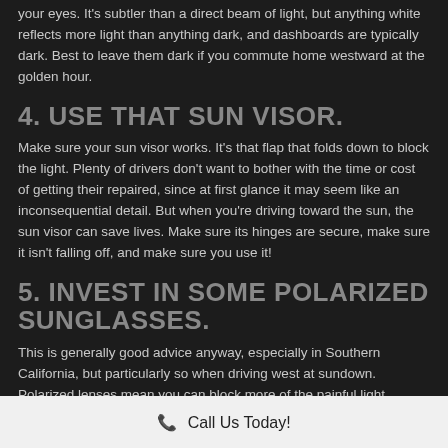your eyes. It's subtler than a direct beam of light, but anything white reflects more light than anything dark, and dashboards are typically dark. Best to leave them dark if you commute home westward at the golden hour.
4. USE THAT SUN VISOR.
Make sure your sun visor works. It's that flap that folds down to block the light. Plenty of drivers don't want to bother with the time or cost of getting their repaired, since at first glance it may seem like an inconsequential detail. But when you're driving toward the sun, the sun visor can save lives. Make sure its hinges are secure, make sure it isn't falling off, and make sure you use it!
5. INVEST IN SOME POLARIZED SUNGLASSES.
This is generally good advice anyway, especially in Southern California, but particularly so when driving west at sundown. Polarized lenses mean you can block more of the painful light
📞 Call Us Today!